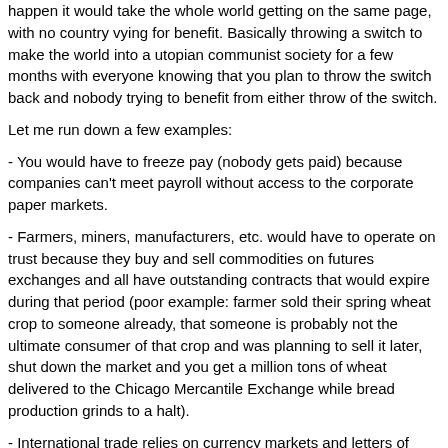happen it would take the whole world getting on the same page, with no country vying for benefit. Basically throwing a switch to make the world into a utopian communist society for a few months with everyone knowing that you plan to throw the switch back and nobody trying to benefit from either throw of the switch.
Let me run down a few examples:
- You would have to freeze pay (nobody gets paid) because companies can't meet payroll without access to the corporate paper markets.
- Farmers, miners, manufacturers, etc. would have to operate on trust because they buy and sell commodities on futures exchanges and all have outstanding contracts that would expire during that period (poor example: farmer sold their spring wheat crop to someone already, that someone is probably not the ultimate consumer of that crop and was planning to sell it later, shut down the market and you get a million tons of wheat delivered to the Chicago Mercantile Exchange while bread production grinds to a halt).
- International trade relies on currency markets and letters of credit, and practically everything has international aspects to its supply chain.
- Freeze financial markets and folks who rely on them for income/liquidity can't buy food. Smallish number that doesn't also draw social security, but